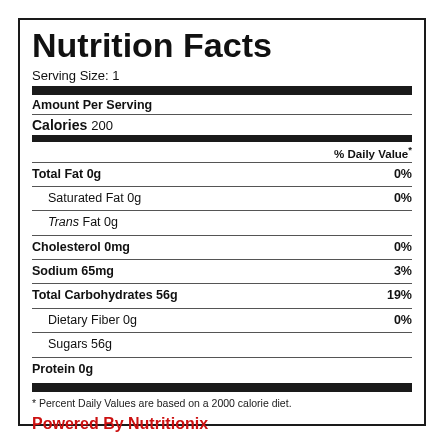Nutrition Facts
Serving Size: 1
Amount Per Serving
Calories 200
| Nutrient | Amount | % Daily Value |
| --- | --- | --- |
| Total Fat | 0g | 0% |
| Saturated Fat | 0g | 0% |
| Trans Fat | 0g |  |
| Cholesterol | 0mg | 0% |
| Sodium | 65mg | 3% |
| Total Carbohydrates | 56g | 19% |
| Dietary Fiber | 0g | 0% |
| Sugars | 56g |  |
| Protein | 0g |  |
* Percent Daily Values are based on a 2000 calorie diet.
Powered By Nutritionix